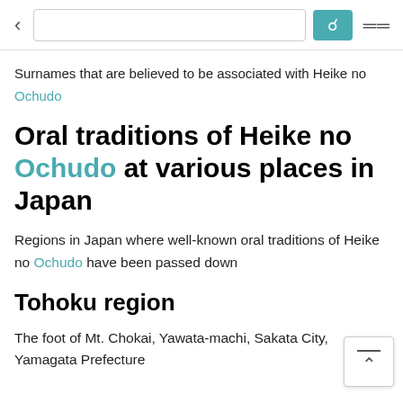[Figure (screenshot): Browser navigation bar with back button, search input, teal search icon button, and hamburger menu icon]
Surnames that are believed to be associated with Heike no
Ochudo
Oral traditions of Heike no Ochudo at various places in Japan
Regions in Japan where well-known oral traditions of Heike no Ochudo have been passed down
Tohoku region
The foot of Mt. Chokai, Yawata-machi, Sakata City, Yamagata Prefecture